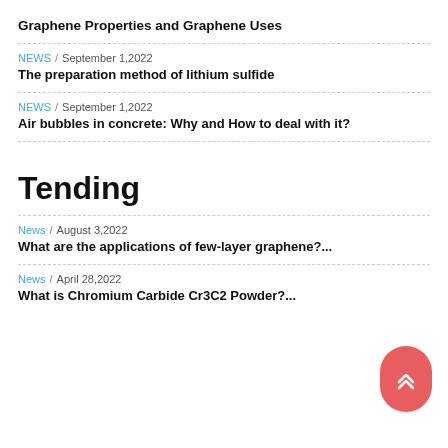Graphene Properties and Graphene Uses
NEWS / September 1,2022
The preparation method of lithium sulfide
NEWS / September 1,2022
Air bubbles in concrete: Why and How to deal with it?
Tending
News / August 3,2022
What are the applications of few-layer graphene?...
News / April 28,2022
What is Chromium Carbide Cr3C2 Powder?...